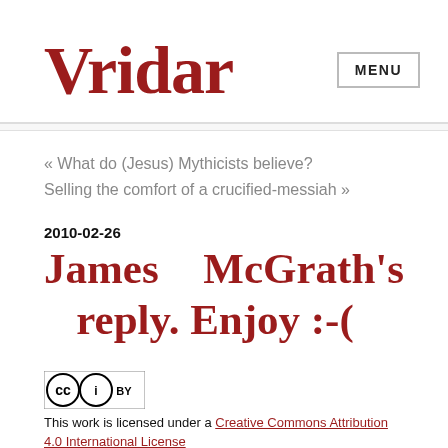Vridar
MENU
« What do (Jesus) Mythicists believe?
Selling the comfort of a crucified-messiah »
2010-02-26
James McGrath's reply. Enjoy :-(
[Figure (logo): Creative Commons BY license badge]
This work is licensed under a Creative Commons Attribution 4.0 International License